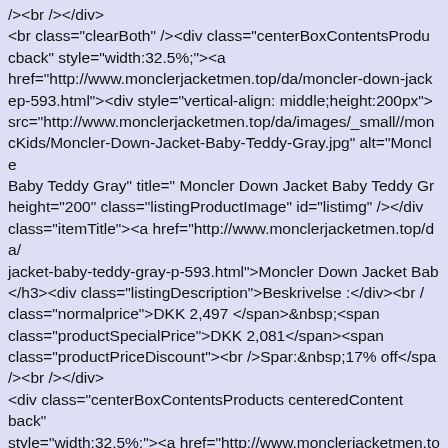/><br /><\/div>
<br class="clearBoth" /><div class="centerBoxContentsProducts centeredContent back" style="width:32.5%;"><a href="http://www.monclerjacketmen.top/da/moncler-down-jacket-baby-teddy-gray-p-593.html"><div style="vertical-align: middle;height:200px"><img src="http://www.monclerjacketmen.top/da/images/_small//moncler_no/Kids/Moncler-Down-Jacket-Baby-Teddy-Gray.jpg" alt="Moncler Down Jacket Baby Teddy Gray" title=" Moncler Down Jacket Baby Teddy Gray" height="200" class="listingProductImage" id="listimg" /><\/div class="itemTitle"><a href="http://www.monclerjacketmen.top/da/moncler-down-jacket-baby-teddy-gray-p-593.html">Moncler Down Jacket Baby<\/h3><div class="listingDescription">Beskrivelse :<\/div><br /><span class="normalprice">DKK 2,497 <\/span>&nbsp;<span class="productSpecialPrice">DKK 2,081<\/span><span class="productPriceDiscount"><br />Spar:&nbsp;17% off<\/span></p>/><br /><\/div>
<div class="centerBoxContentsProducts centeredContent back" style="width:32.5%;"><a href="http://www.monclerjacketmen.top/da/moncler-down-jacket-baby-teddy-white-p-592.html"><div style="vertical-align: middle;height:200px"><img src="http://www.monclerjacketmen.top/da/images/_small//moncler_no/Kids/Moncler-Down-Jacket-Baby-Teddy-White.jpg" alt="Moncler Down Jacket Baby Teddy White" title=" Moncler Down Jacket Baby Teddy White" height="200" class="listingProductImage" id="listimg" /><\/div class="itemTitle"><a href="http://www.monclerjacketmen.top/da/moncler-down-jacket-baby-teddy-white-p-592.html">